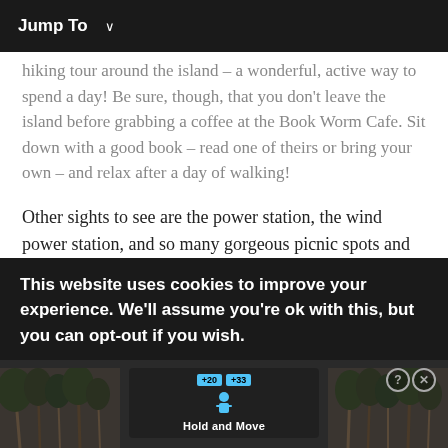Jump To ∨
hiking tour around the island – a wonderful, active way to spend a day! Be sure, though, that you don't leave the island before grabbing a coffee at the Book Worm Cafe. Sit down with a good book – read one of theirs or bring your own – and relax after a day of walking!
Other sights to see are the power station, the wind power station, and so many gorgeous picnic spots and beaches to relax in. Whether you visit the island for an entire day or just a few hours, it makes for a great break from everyday life! If you need to stay over, there are affordable and comfy
This website uses cookies to improve your experience. We'll assume you're ok with this, but you can opt-out if you wish.
[Figure (screenshot): Advertisement overlay with 'Hold and Move' game ad, showing a figure icon, badge labels +20 and +33, and close/help buttons, against a dark tree background.]